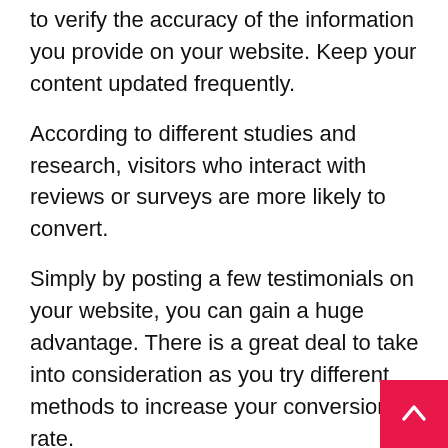to verify the accuracy of the information you provide on your website. Keep your content updated frequently.
According to different studies and research, visitors who interact with reviews or surveys are more likely to convert.
Simply by posting a few testimonials on your website, you can gain a huge advantage. There is a great deal to take into consideration as you try different methods to increase your conversion rate.
Improve Your Page Load Time